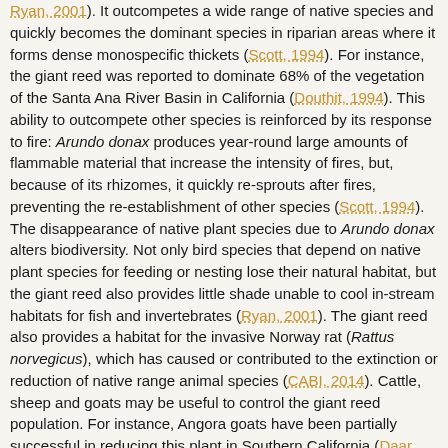Ryan, 2001). It outcompetes a wide range of native species and quickly becomes the dominant species in riparian areas where it forms dense monospecific thickets (Scott, 1994). For instance, the giant reed was reported to dominate 68% of the vegetation of the Santa Ana River Basin in California (Douthit, 1994). This ability to outcompete other species is reinforced by its response to fire: Arundo donax produces year-round large amounts of flammable material that increase the intensity of fires, but, because of its rhizomes, it quickly re-sprouts after fires, preventing the re-establishment of other species (Scott, 1994). The disappearance of native plant species due to Arundo donax alters biodiversity. Not only bird species that depend on native plant species for feeding or nesting lose their natural habitat, but the giant reed also provides little shade unable to cool in-stream habitats for fish and invertebrates (Ryan, 2001). The giant reed also provides a habitat for the invasive Norway rat (Rattus norvegicus), which has caused or contributed to the extinction or reduction of native range animal species (CABI, 2014). Cattle, sheep and goats may be useful to control the giant reed population. For instance, Angora goats have been partially successful in reducing this plant in Southern California (Daar, 1983). However, grazing is unlikely to reduce population size significantly (USDA, 2012).
Water depletion
The giant reed uses more water than native plants, lowering groundwater tables (CABI, 2014).
Alteration and obstruction of waterways
The extensive root system of Arundo donax inhibits the water...